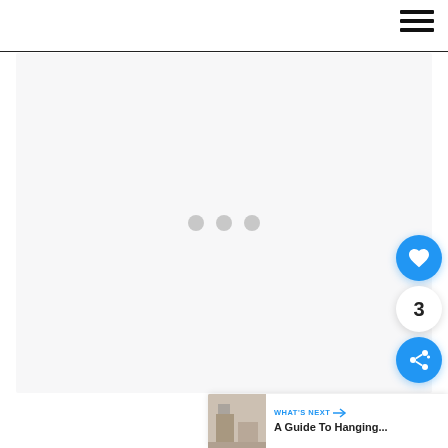[Figure (screenshot): Website navigation bar with hamburger menu icon (three horizontal lines) in the top-right corner, followed by a large light gray content area with three loading dots in the center, floating action buttons (heart/like button in blue, count '3', share button in blue) on the right side, and a 'What's Next' card at the bottom right showing a room thumbnail and 'A Guide To Hanging...' text.]